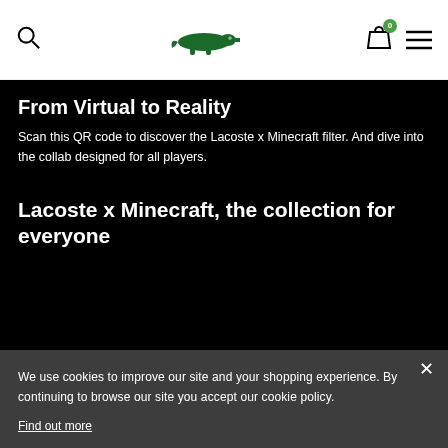Lacoste website header with search, logo, cart (0), and menu icons
From Virtual to Reality
Scan this QR code to discover the Lacoste x Minecraft filter. And dive into the collab designed for all players.
Lacoste x Minecraft, the collection for everyone
We use cookies to improve our site and your shopping experience. By continuing to browse our site you accept our cookie policy.
Find out more